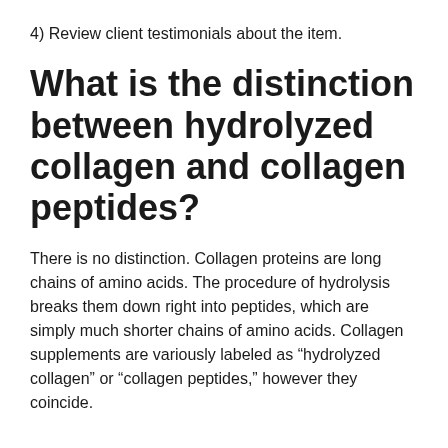4) Review client testimonials about the item.
What is the distinction between hydrolyzed collagen and collagen peptides?
There is no distinction. Collagen proteins are long chains of amino acids. The procedure of hydrolysis breaks them down right into peptides, which are simply much shorter chains of amino acids. Collagen supplements are variously labeled as “hydrolyzed collagen” or “collagen peptides,” however they coincide.